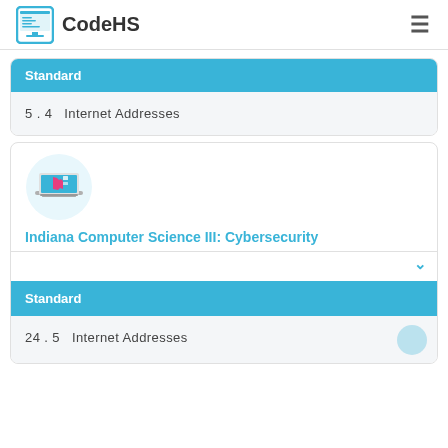CodeHS
Standard
5.4  Internet Addresses
[Figure (illustration): Indiana Computer Science course icon showing a laptop with Indiana state outline]
Indiana Computer Science III: Cybersecurity
Standard
24.5  Internet Addresses